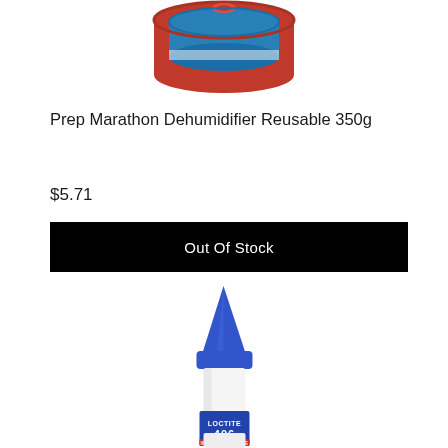[Figure (photo): Partial view of Prep Marathon Dehumidifier Reusable 350g product — round red and blue container, top portion visible]
Prep Marathon Dehumidifier Reusable 350g
$5.71
Out Of Stock
[Figure (photo): Loctite 406 Instant Adhesive bottle — white bottle with blue cone-shaped cap, blue label showing LOCTITE 406 INSTANT ADHESIVE]